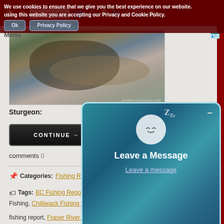Cookie banner: We use cookies to ensure that we give you the best experience on our website. using this website you are accepting our Privacy and Cookie Policy.
[Figure (photo): People on a boat handling a large sturgeon fish in brown water]
Sturgeon:
CONTINUE →
comments 0
Categories: Fishing Reports
Tags: BC Fishing Report, Bri... Fishing, Chilliwack Fishing Report, fishing report, Fraser River Fishing Report, GRF report, GRFA Report
[Figure (screenshot): Popup overlay with sleeping moon emoji, text 'Leave a Message' and 'Leave a message' link]